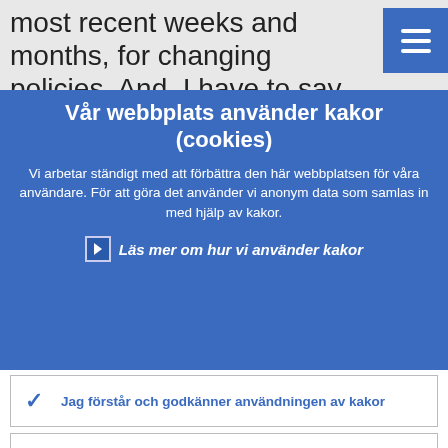most recent weeks and months, for changing policies. And, I have to say that in a number of cases governments have
Vår webbplats använder kakor (cookies)
Vi arbetar ständigt med att förbättra den här webbplatsen för våra användare. För att göra det använder vi anonym data som samlas in med hjälp av kakor.
Läs mer om hur vi använder kakor
Jag förstår och godkänner användningen av kakor
Jag godkänner inte användningen av kakor